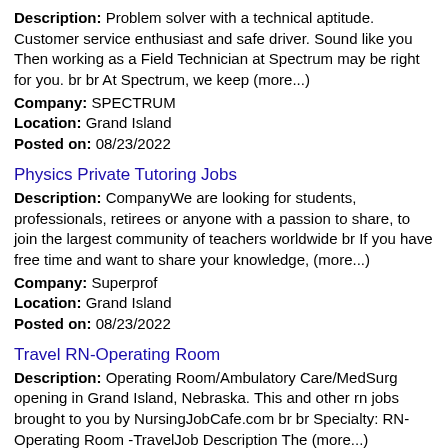Description: Problem solver with a technical aptitude. Customer service enthusiast and safe driver. Sound like you Then working as a Field Technician at Spectrum may be right for you. br br At Spectrum, we keep (more...)
Company: SPECTRUM
Location: Grand Island
Posted on: 08/23/2022
Physics Private Tutoring Jobs
Description: CompanyWe are looking for students, professionals, retirees or anyone with a passion to share, to join the largest community of teachers worldwide br If you have free time and want to share your knowledge, (more...)
Company: Superprof
Location: Grand Island
Posted on: 08/23/2022
Travel RN-Operating Room
Description: Operating Room/Ambulatory Care/MedSurg opening in Grand Island, Nebraska. This and other rn jobs brought to you by NursingJobCafe.com br br Specialty: RN-Operating Room -TravelJob Description The (more...)
Company: All Medical Personnel
Location: Grand Island